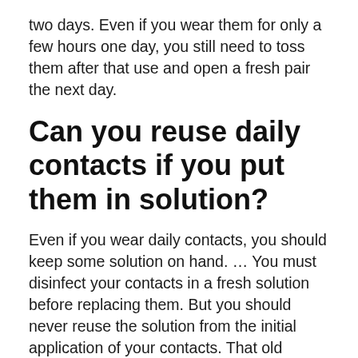two days. Even if you wear them for only a few hours one day, you still need to toss them after that use and open a fresh pair the next day.
Can you reuse daily contacts if you put them in solution?
Even if you wear daily contacts, you should keep some solution on hand. … You must disinfect your contacts in a fresh solution before replacing them. But you should never reuse the solution from the initial application of your contacts. That old solution has given any bacteria enough time to grow and multiply.